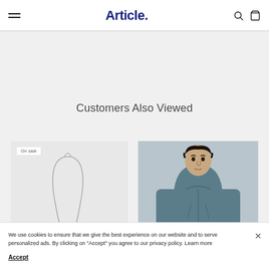Article.
Customers Also Viewed
[Figure (photo): Product image: silver necklace on light gray background with 'On sale' badge]
[Figure (photo): Product image: man wearing a steel-blue hooded jacket on gray background with 'On sale' badge]
We use cookies to ensure that we give the best experience on our website and to serve personalized ads. By clicking on "Accept" you agree to our privacy policy. Learn more
Accept